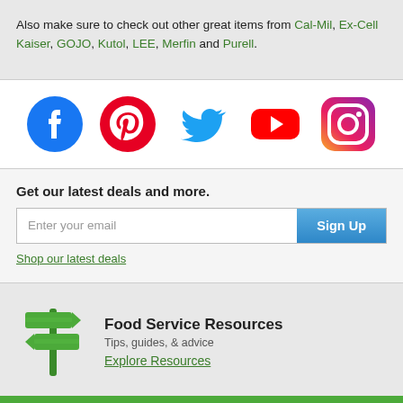Also make sure to check out other great items from Cal-Mil, Ex-Cell Kaiser, GOJO, Kutol, LEE, Merfin and Purell.
[Figure (illustration): Social media icons: Facebook, Pinterest, Twitter, YouTube, Instagram]
Get our latest deals and more.
Enter your email | Sign Up button
Shop our latest deals
[Figure (illustration): Green signpost icon for Food Service Resources]
Food Service Resources
Tips, guides, & advice
Explore Resources